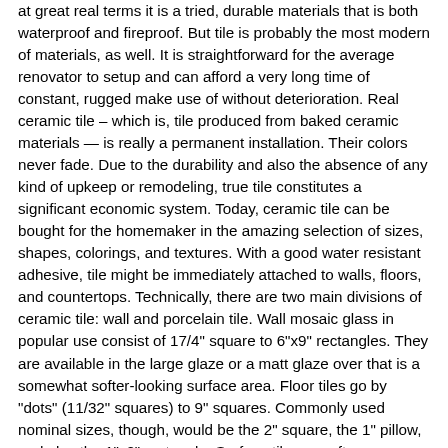at great real terms it is a tried, durable materials that is both waterproof and fireproof. But tile is probably the most modern of materials, as well. It is straightforward for the average renovator to setup and can afford a very long time of constant, rugged make use of without deterioration. Real ceramic tile – which is, tile produced from baked ceramic materials — is really a permanent installation. Their colors never fade. Due to the durability and also the absence of any kind of upkeep or remodeling, true tile constitutes a significant economic system. Today, ceramic tile can be bought for the homemaker in the amazing selection of sizes, shapes, colorings, and textures. With a good water resistant adhesive, tile might be immediately attached to walls, floors, and countertops. Technically, there are two main divisions of ceramic tile: wall and porcelain tile. Wall mosaic glass in popular use consist of 17/4" square to 6"x9" rectangles. They are available in the large glaze or a matt glaze over that is a somewhat softer-looking surface area. Floor tiles go by "dots" (11/32" squares) to 9" squares. Commonly used nominal sizes, though, would be the 2" square, the 1" pillow, and also the 1"x2" rectangle. Surface tiles are often unglazed. Surface tiles might be divided in to three subdivisions: Ceramic mosaics are under six main market square inches in facial surface area. Pavers are the ones unglazed floor units measuring half a dozen square inches or more in facial surface. Quarries are created to resist especially severe